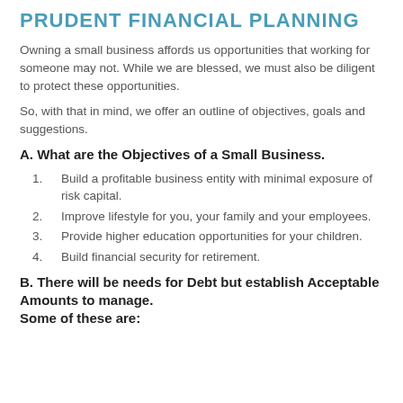PRUDENT FINANCIAL PLANNING
Owning a small business affords us opportunities that working for someone may not. While we are blessed, we must also be diligent to protect these opportunities.
So, with that in mind, we offer an outline of objectives, goals and suggestions.
A. What are the Objectives of a Small Business.
Build a profitable business entity with minimal exposure of risk capital.
Improve lifestyle for you, your family and your employees.
Provide higher education opportunities for your children.
Build financial security for retirement.
B. There will be needs for Debt but establish Acceptable Amounts to manage.
Some of these are: